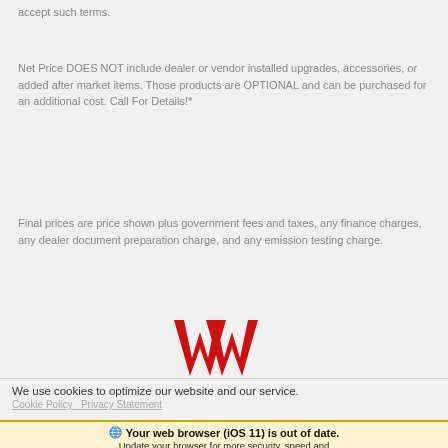accept such terms.
Net Price DOES NOT include dealer or vendor installed upgrades, accessories, or added after market items. Those products are OPTIONAL and can be purchased for an additional cost. Call For Details!*
Final prices are price shown plus government fees and taxes, any finance charges, any dealer document preparation charge, and any emission testing charge.
[Figure (logo): WAA red logo]
We use cookies to optimize our website and our service.
Cookie Policy  Privacy Statement
Your web browser (iOS 11) is out of date. Update your browser for more security, speed and the best experience on this site.